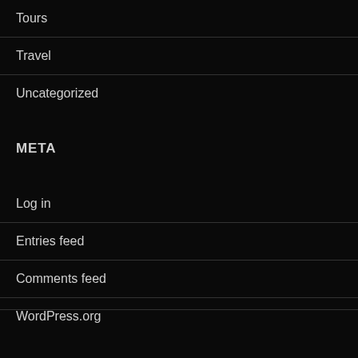Tours
Travel
Uncategorized
META
Log in
Entries feed
Comments feed
WordPress.org